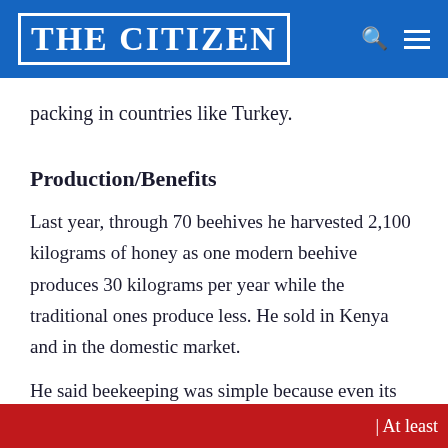THE CITIZEN
packing in countries like Turkey.
Production/Benefits
Last year, through 70 beehives he harvested 2,100 kilograms of honey as one modern beehive produces 30 kilograms per year while the traditional ones produce less. He sold in Kenya and in the domestic market.
He said beekeeping was simple because even its
| At least